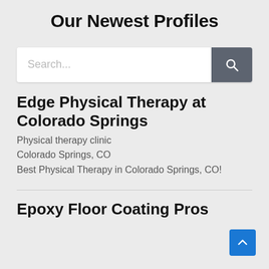Our Newest Profiles
[Figure (screenshot): Search bar with text input and dark grey search button with magnifying glass icon]
Edge Physical Therapy at Colorado Springs
Physical therapy clinic
Colorado Springs, CO
Best Physical Therapy in Colorado Springs, CO!
Epoxy Floor Coating Pros